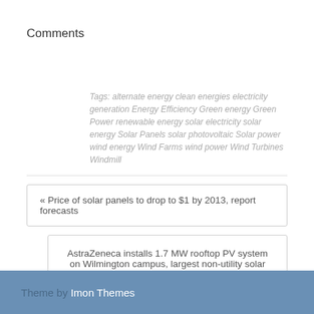Comments
Tags: alternate energy clean energies electricity generation Energy Efficiency Green energy Green Power renewable energy solar electricity solar energy Solar Panels solar photovoltaic Solar power wind energy Wind Farms wind power Wind Turbines Windmill
« Price of solar panels to drop to $1 by 2013, report forecasts
AstraZeneca installs 1.7 MW rooftop PV system on Wilmington campus, largest non-utility solar project in Delaware »
Theme by Imon Themes